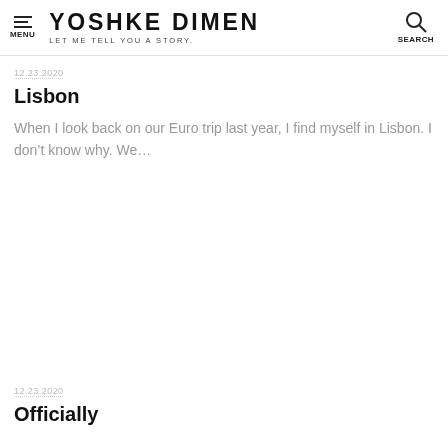YOSHKE DIMEN — LET ME TELL YOU A STORY. MENU | SEARCH
12.23.2020
Lisbon
When I look back on our Euro trip last year, I find myself in Lisbon. I don't know why. We…
12.23.2020
Officially